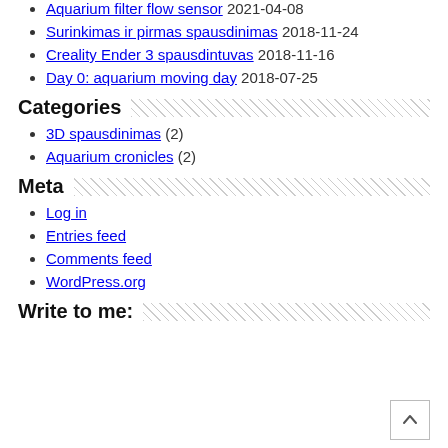Aquarium filter flow sensor 2021-04-08
Surinkimas ir pirmas spausdinimas 2018-11-24
Creality Ender 3 spausdintuvas 2018-11-16
Day 0: aquarium moving day 2018-07-25
Categories
3D spausdinimas (2)
Aquarium cronicles (2)
Meta
Log in
Entries feed
Comments feed
WordPress.org
Write to me: